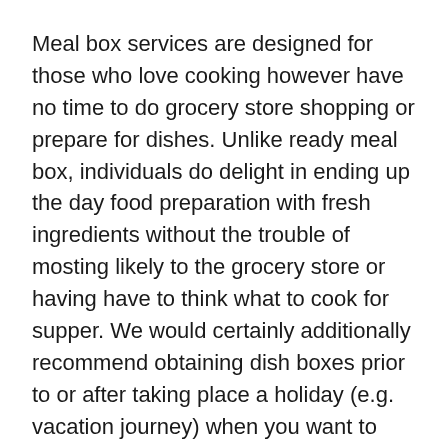Meal box services are designed for those who love cooking however have no time to do grocery store shopping or prepare for dishes. Unlike ready meal box, individuals do delight in ending up the day food preparation with fresh ingredients without the trouble of mosting likely to the grocery store or having have to think what to cook for supper. We would certainly additionally recommend obtaining dish boxes prior to or after taking place a holiday (e.g. vacation journey) when you want to maintain components in the refrigerator to be tidy without any leftover veggies!
4. Easy to cancel or miss your orders